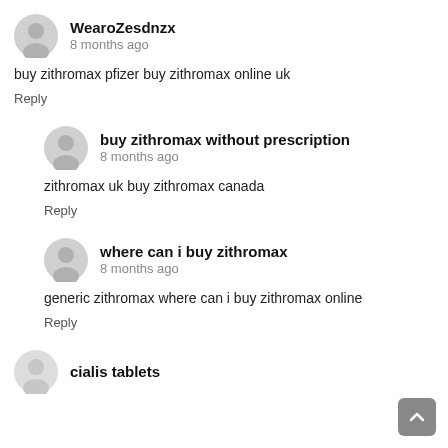WearoZesdnzx
8 months ago
buy zithromax pfizer buy zithromax online uk
Reply
buy zithromax without prescription
8 months ago
zithromax uk buy zithromax canada
Reply
where can i buy zithromax
8 months ago
generic zithromax where can i buy zithromax online
Reply
cialis tablets